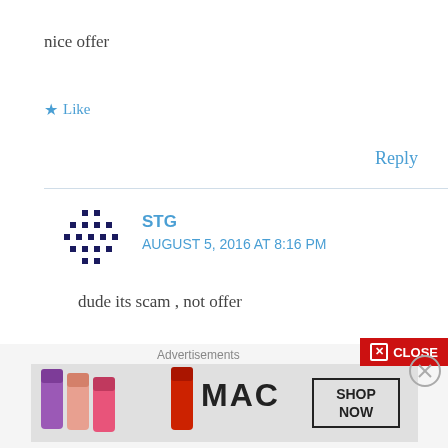nice offer
★ Like
Reply
STG
AUGUST 5, 2016 AT 8:16 PM
dude its scam , not offer
★ Like
✕ CLOSE
Advertisements
[Figure (photo): MAC cosmetics advertisement banner showing lipsticks with MAC logo and SHOP NOW button]